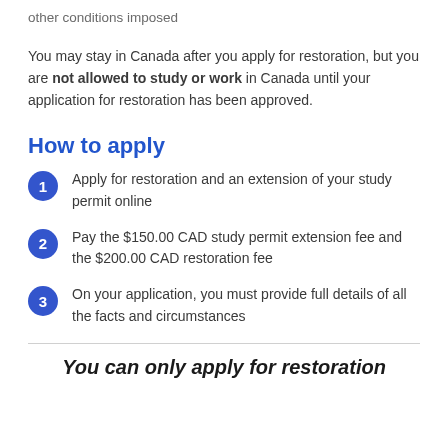other conditions imposed
You may stay in Canada after you apply for restoration, but you are not allowed to study or work in Canada until your application for restoration has been approved.
How to apply
Apply for restoration and an extension of your study permit online
Pay the $150.00 CAD study permit extension fee and the $200.00 CAD restoration fee
On your application, you must provide full details of all the facts and circumstances
You can only apply for restoration